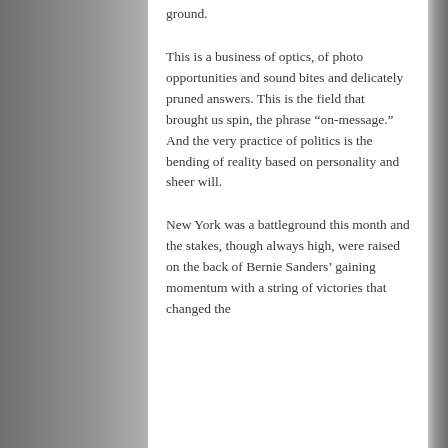ground.
This is a business of optics, of photo opportunities and sound bites and delicately pruned answers. This is the field that brought us spin, the phrase “on-message.” And the very practice of politics is the bending of reality based on personality and sheer will.
New York was a battleground this month and the stakes, though always high, were raised on the back of Bernie Sanders’ gaining momentum with a string of victories that changed the